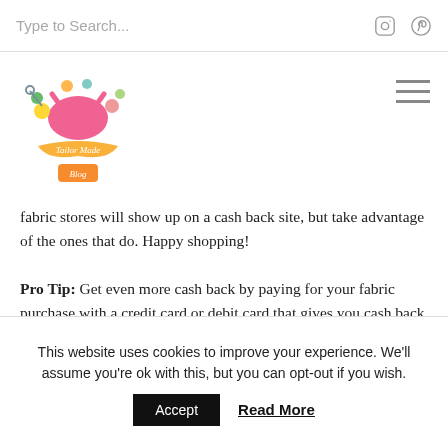Type to Search...
[Figure (logo): Sew, Mama, Sew / Tailor Made Blog logo with floral and sewing motifs]
fabric stores will show up on a cash back site, but take advantage of the ones that do. Happy shopping!
Pro Tip: Get even more cash back by paying for your fabric purchase with a credit card or debit card that gives you cash back for using it!
Fabric Shopping Hacks
This website uses cookies to improve your experience. We'll assume you're ok with this, but you can opt-out if you wish.